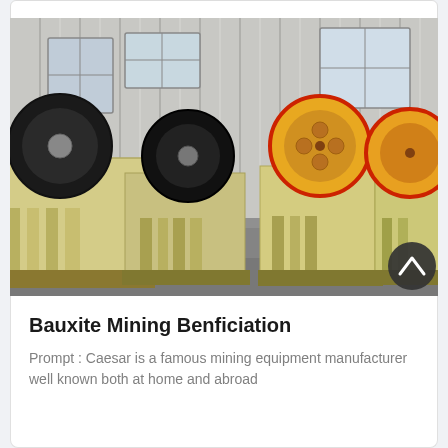[Figure (photo): Row of jaw crusher mining machines lined up in an industrial warehouse/factory. The machines are cream/yellow colored with large black and red flywheels. The background shows a corrugated metal building with large windows.]
Bauxite Mining Benficiation
Prompt : Caesar is a famous mining equipment manufacturer well known both at home and abroad